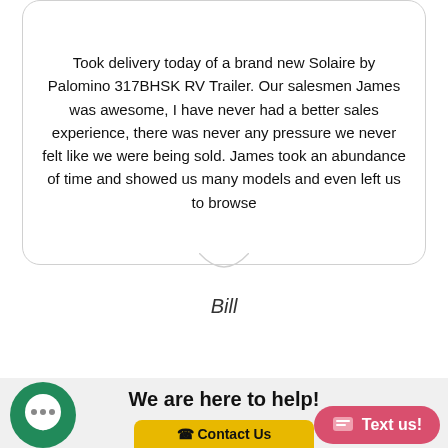Took delivery today of a brand new Solaire by Palomino 317BHSK RV Trailer. Our salesmen James was awesome, I have never had a better sales experience, there was never any pressure we never felt like we were being sold. James took an abundance of time and showed us many models and even left us to browse
Bill
We are here to help!
866-463-9242
Text us!
Contact Us